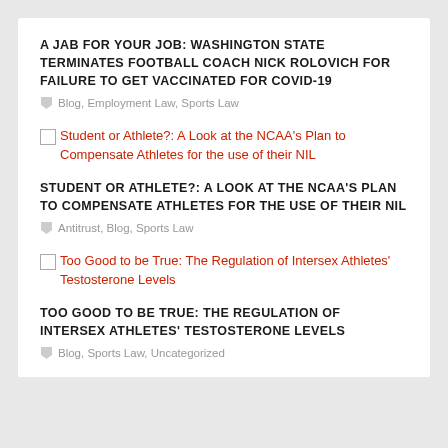A JAB FOR YOUR JOB: WASHINGTON STATE TERMINATES FOOTBALL COACH NICK ROLOVICH FOR FAILURE TO GET VACCINATED FOR COVID-19
Blog, Employment Law, Sports Law
Student or Athlete?: A Look at the NCAA's Plan to Compensate Athletes for the use of their NIL
STUDENT OR ATHLETE?: A LOOK AT THE NCAA'S PLAN TO COMPENSATE ATHLETES FOR THE USE OF THEIR NIL
Antitrust, Blog, Sports Law
Too Good to be True: The Regulation of Intersex Athletes' Testosterone Levels
TOO GOOD TO BE TRUE: THE REGULATION OF INTERSEX ATHLETES' TESTOSTERONE LEVELS
Blog, Sports Law, Uncategorized